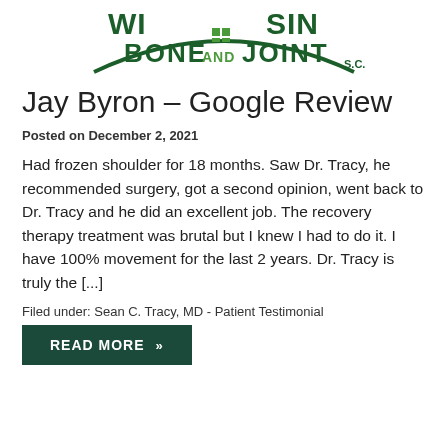[Figure (logo): Wisconsin Bone and Joint S.C. logo with green text and arch design]
Jay Byron – Google Review
Posted on December 2, 2021
Had frozen shoulder for 18 months. Saw Dr. Tracy, he recommended surgery, got a second opinion, went back to Dr. Tracy and he did an excellent job. The recovery therapy treatment was brutal but I knew I had to do it. I have 100% movement for the last 2 years. Dr. Tracy is truly the [...]
Filed under: Sean C. Tracy, MD - Patient Testimonial
READ MORE »